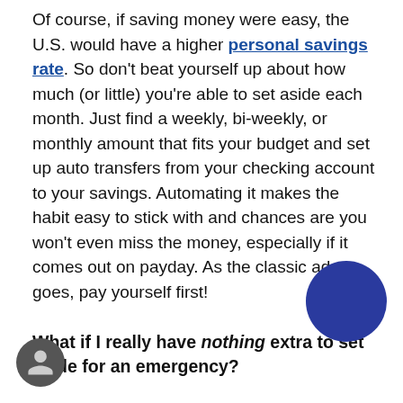Of course, if saving money were easy, the U.S. would have a higher personal savings rate. So don't beat yourself up about how much (or little) you're able to set aside each month. Just find a weekly, bi-weekly, or monthly amount that fits your budget and set up auto transfers from your checking account to your savings. Automating it makes the habit easy to stick with and chances are you won't even miss the money, especially if it comes out on payday. As the classic adage goes, pay yourself first!
What if I really have nothing extra to set aside for an emergency?
When there's not enough coming in, look for ways to generate extra income. Consider your natural talents and interests and try to turn them into a side hustle. For example, if you love kids you could take on weekend babysitting gigs. Crafty? Choose something to make and sell on Etsy. Have digital skills such as graphic design or